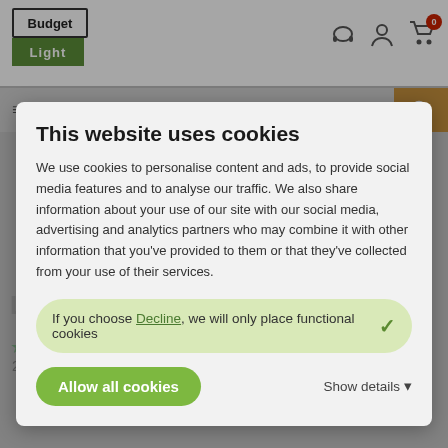[Figure (screenshot): BudgetLight website header with logo, navigation icons, search bar, and product listing page showing Ledvance LED Floodlight results in background]
This website uses cookies
We use cookies to personalise content and ads, to provide social media features and to analyse our traffic. We also share information about your use of our site with our social media, advertising and analytics partners who may combine it with other information that you've provided to them or that they've collected from your use of their services.
If you choose Decline, we will only place functional cookies
Allow all cookies
Show details